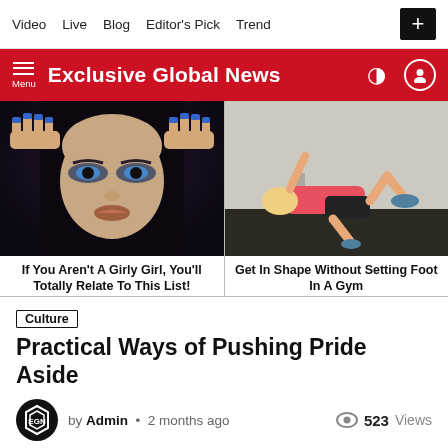Video  Live  Blog  Editor's Pick  Trend
Exclusive Global News
[Figure (photo): Animated/CGI female face with blue nail polish and dramatic eye makeup]
If You Aren't A Girly Girl, You'll Totally Relate To This List!
[Figure (photo): Woman in pink top and black shorts doing a bridge exercise on a gym floor mat]
Get In Shape Without Setting Foot In A Gym
Culture
Practical Ways of Pushing Pride Aside
by Admin • 2 months ago
523 Views